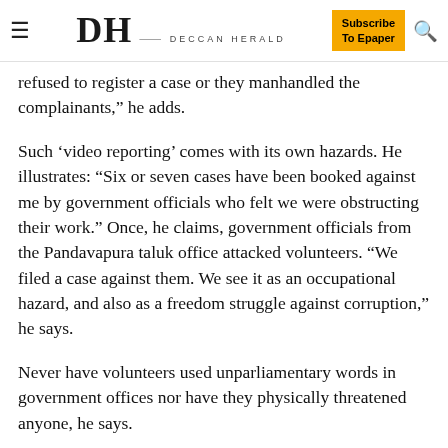DH DECCAN HERALD | Subscribe To Epaper
refused to register a case or they manhandled the complainants," he adds.
Such ‘video reporting’ comes with its own hazards. He illustrates: “Six or seven cases have been booked against me by government officials who felt we were obstructing their work.” Once, he claims, government officials from the Pandavapura taluk office attacked volunteers. “We filed a case against them. We see it as an occupational hazard, and also as a freedom struggle against corruption,” he says.
Never have volunteers used unparliamentary words in government offices nor have they physically threatened anyone, he says.